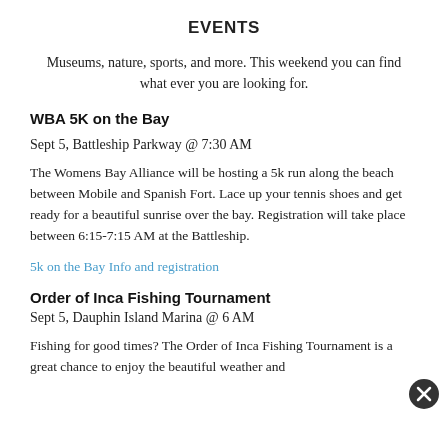EVENTS
Museums, nature, sports, and more. This weekend you can find what ever you are looking for.
WBA 5K on the Bay
Sept 5, Battleship Parkway @ 7:30 AM
The Womens Bay Alliance will be hosting a 5k run along the beach between Mobile and Spanish Fort. Lace up your tennis shoes and get ready for a beautiful sunrise over the bay. Registration will take place between 6:15-7:15 AM at the Battleship.
5k on the Bay Info and registration
Order of Inca Fishing Tournament
Sept 5, Dauphin Island Marina @ 6 AM
Fishing for good times? The Order of Inca Fishing Tournament is a great chance to enjoy the beautiful weather and